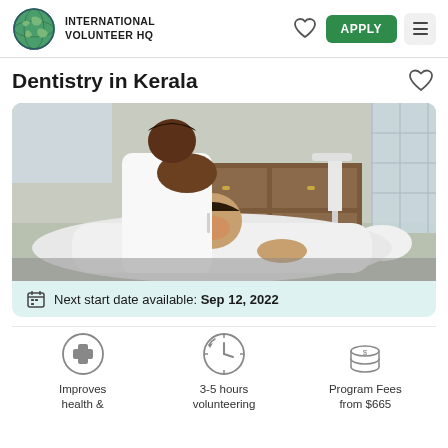INTERNATIONAL VOLUNTEER HQ
Dentistry in Kerala
[Figure (photo): Dentist in white coat performing dental procedure on a patient reclined in a dental chair, inside a dental clinic with dental equipment visible.]
Next start date available: Sep 12, 2022
Improves health &
3-5 hours volunteering
Program Fees from $665